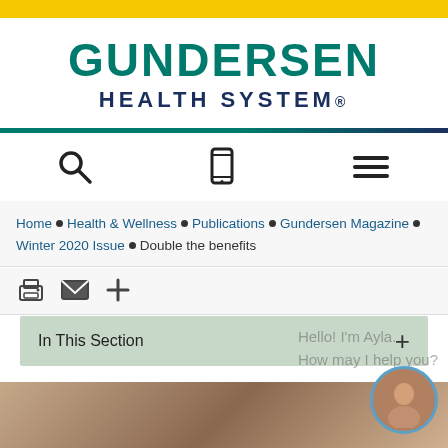[Figure (logo): Gundersen Health System logo with teal GUNDERSEN text and navy HEALTH SYSTEM. text]
Home ■ Health & Wellness ■ Publications ■ Gundersen Magazine ■ Winter 2020 Issue ■ Double the benefits
[Figure (infographic): Action icons row: print, email, and plus icons]
In This Section +
[Figure (photo): Photo at bottom of page showing a person, partially cropped]